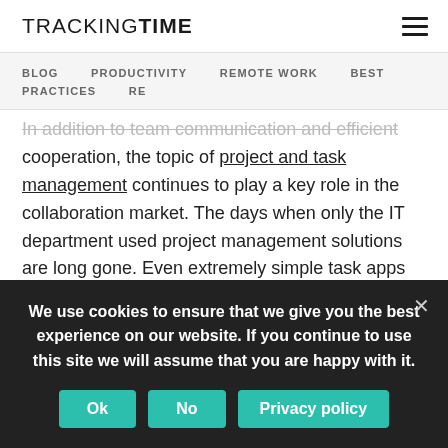TRACKINGTIME
BLOG  PRODUCTIVITY  REMOTE WORK  BEST PRACTICES  RE
In addition to team communication and efficient cooperation, the topic of project and task management continues to play a key role in the collaboration market. The days when only the IT department used project management solutions are long gone. Even extremely simple task apps like Wunderlist or Todoist have long established themselves in the business environment,
We use cookies to ensure that we give you the best experience on our website. If you continue to use this site we will assume that you are happy with it.